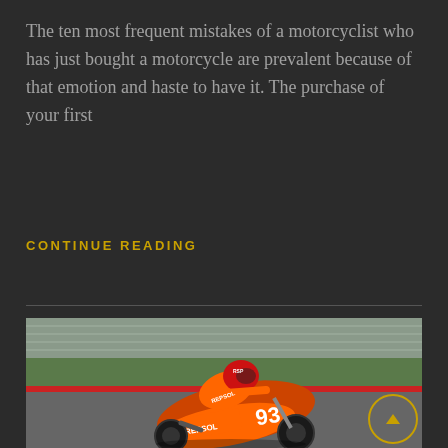The ten most frequent mistakes of a motorcyclist who has just bought a motorcycle are prevalent because of that emotion and haste to have it. The purchase of your first
CONTINUE READING
[Figure (photo): A MotoGP racer wearing a red helmet and Repsol Honda livery (number 93) leaning into a corner on a racing circuit. The motorcycle is orange and red with Repsol branding.]